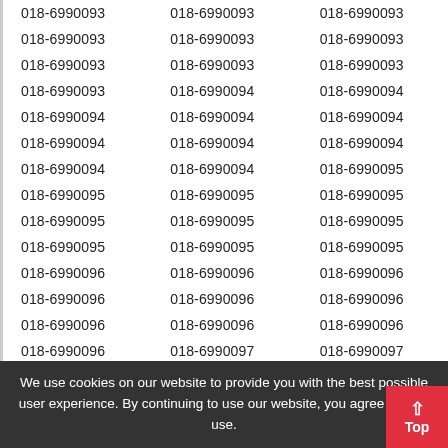| Col1 | Col2 | Col3 |
| --- | --- | --- |
| 018-6990093 | 018-6990093 | 018-6990093 |
| 018-6990093 | 018-6990093 | 018-6990093 |
| 018-6990093 | 018-6990093 | 018-6990093 |
| 018-6990093 | 018-6990094 | 018-6990094 |
| 018-6990094 | 018-6990094 | 018-6990094 |
| 018-6990094 | 018-6990094 | 018-6990094 |
| 018-6990094 | 018-6990094 | 018-6990095 |
| 018-6990095 | 018-6990095 | 018-6990095 |
| 018-6990095 | 018-6990095 | 018-6990095 |
| 018-6990095 | 018-6990095 | 018-6990095 |
| 018-6990096 | 018-6990096 | 018-6990096 |
| 018-6990096 | 018-6990096 | 018-6990096 |
| 018-6990096 | 018-6990096 | 018-6990096 |
| 018-6990096 | 018-6990097 | 018-6990097 |
| 018-6990097 | 018-6990097 | 018-6990097 |
| 018-6990097 | 018-6990097 | 018-6990097 |
We use cookies on our website to provide you with the best possible user experience. By continuing to use our website, you agree to their use.